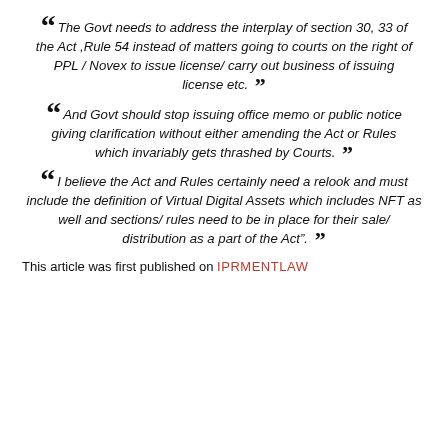The Govt needs to address the interplay of section 30, 33 of the Act ,Rule 54 instead of matters going to courts on the right of PPL / Novex to issue license/ carry out business of issuing license etc.
And Govt should stop issuing office memo or public notice giving clarification without either amending the Act or Rules which invariably gets thrashed by Courts.
I believe the Act and Rules certainly need a relook and must include the definition of Virtual Digital Assets which includes NFT as well and sections/ rules need to be in place for their sale/ distribution as a part of the Act".
This article was first published on IPRMENTLAW